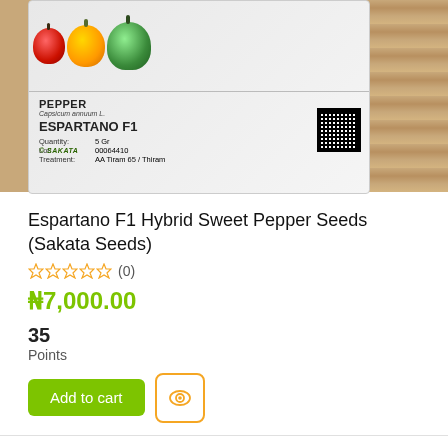[Figure (photo): Sakata Espartano F1 pepper seed packet showing colorful bell peppers (orange, green, red) on a wooden surface. Packet label reads: PEPPER, Capsicum annuum L., ESPARTANO F1, Quantity: 5 Gr, Lot: 00064410, Treatment: AA Tiram 65 / Thiram, with a QR code and Sakata logo.]
Espartano F1 Hybrid Sweet Pepper Seeds (Sakata Seeds)
☆☆☆☆☆ (0)
₦7,000.00
35 Points